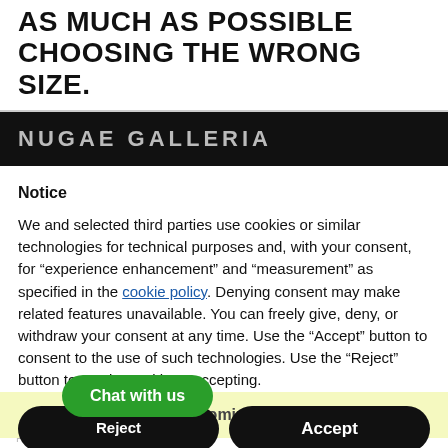AS MUCH AS POSSIBLE CHOOSING THE WRONG SIZE.
NUGAE GALLERIA
Notice
We and selected third parties use cookies or similar technologies for technical purposes and, with your consent, for “experience enhancement” and “measurement” as specified in the cookie policy. Denying consent may make related features unavailable. You can freely give, deny, or withdraw your consent at any time. Use the “Accept” button to consent to the use of such technologies. Use the “Reject” button to continue without accepting.
Reject
Accept
Chat with us
Learn more and customize
FEW PREMISES